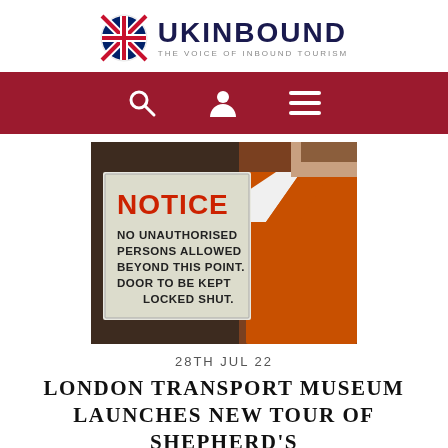[Figure (logo): UKinbound logo with Union Jack icon and text 'UKINBOUND - THE VOICE OF INBOUND TOURISM']
[Figure (other): Dark red navigation bar with search icon, user/profile icon, and hamburger menu icon in white]
[Figure (photo): Photo of a 'NOTICE - NO UNAUTHORISED PERSONS ALLOWED BEYOND THIS POINT. DOOR TO BE KEPT LOCKED SHUT.' sign next to a person wearing an orange high-visibility vest]
28TH JUL 22
LONDON TRANSPORT MUSEUM LAUNCHES NEW TOUR OF SHEPHERD'S BUSH UNDERGROUND STATION
London Transport Museum is adding an exclusive new